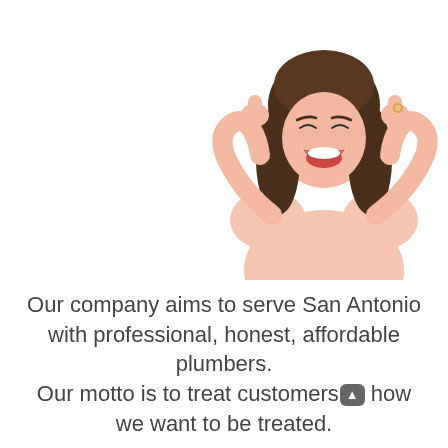[Figure (photo): A smiling woman with long brown hair wearing a light pink top, giving two thumbs up, photographed from the waist up on a white background.]
Our company aims to serve San Antonio with professional, honest, affordable plumbers. Our motto is to treat customers how we want to be treated.